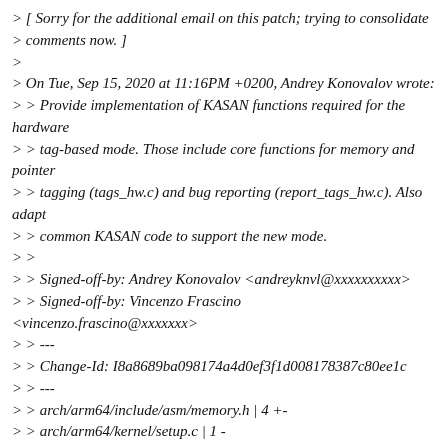> [ Sorry for the additional email on this patch; trying to consolidate
> comments now. ]
>
> On Tue, Sep 15, 2020 at 11:16PM +0200, Andrey Konovalov wrote:
> > Provide implementation of KASAN functions required for the hardware
> > tag-based mode. Those include core functions for memory and pointer
> > tagging (tags_hw.c) and bug reporting (report_tags_hw.c). Also adapt
> > common KASAN code to support the new mode.
> >
> > Signed-off-by: Andrey Konovalov <andreyknvl@xxxxxxxxxx>
> > Signed-off-by: Vincenzo Frascino <vincenzo.frascino@xxxxxxx>
> > ---
> > Change-Id: I8a8689ba098174a4d0ef3f1d008178387c80ee1c
> > ---
> > arch/arm64/include/asm/memory.h | 4 +-
> > arch/arm64/kernel/setup.c | 1 -
> > include/linux/kasan.h | 6 +--
> > include/linux/mm.h | 2 +-
> > include/linux/page-flags-layout.h | 2 +-